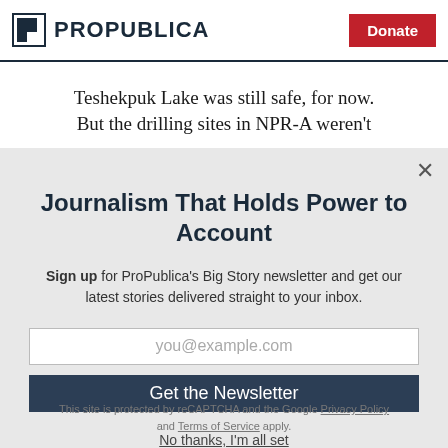ProPublica | Donate
Teshekpuk Lake was still safe, for now. But the drilling sites in NPR-A weren't
Journalism That Holds Power to Account
Sign up for ProPublica's Big Story newsletter and get our latest stories delivered straight to your inbox.
you@example.com
Get the Newsletter
No thanks, I'm all set
This site is protected by reCAPTCHA and the Google Privacy Policy and Terms of Service apply.